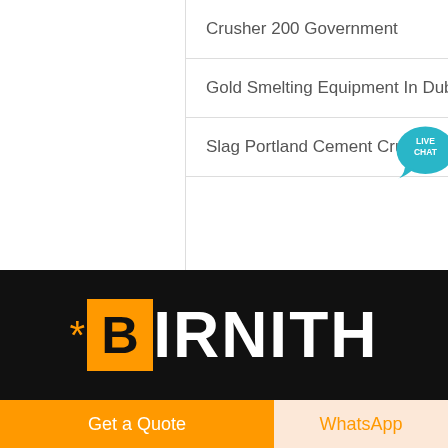Crusher 200 Government
Gold Smelting Equipment In Dubai
Slag Portland Cement Crushing Product
[Figure (logo): Birnith company logo with orange B icon on black background]
Get a Quote
WhatsApp